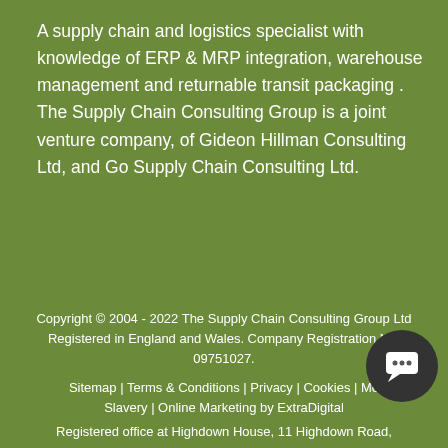A supply chain and logistics specialist with knowledge of ERP & MRP integration, warehouse management and returnable transit packaging . The Supply Chain Consulting Group is a joint venture company, of Gideon Hillman Consulting Ltd, and Go Supply Chain Consulting Ltd.
Copyright © 2004 - 2022 The Supply Chain Consulting Group Ltd Registered in England and Wales. Company Registration No: 09751027. Sitemap | Terms & Conditions | Privacy | Cookies | Mo Slavery | Online Marketing by ExtraDigital Registered office at Highdown House, 11 Highdown Road,